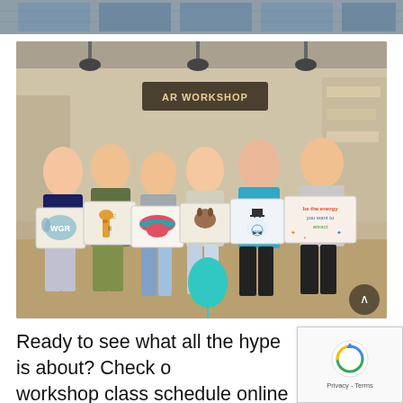[Figure (photo): Narrow horizontal strip photo at the top showing jeans/clothing items on display]
[Figure (photo): Group of six children standing inside an AR Workshop store, each holding a decorated fabric pillow with custom designs (elephant monogram, giraffe, Rolling Stones lips, dog, snowman monogram, inspirational quote). A teal balloon is on the floor. The store sign 'AR WORKSHOP' is visible in the background.]
Ready to see what all the hype is about? Check out our workshop class schedule online here. Stay up to date with our promotions by becoming a follower on ...